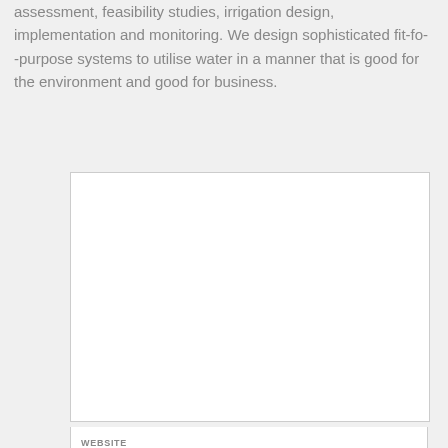assessment, feasibility studies, irrigation design, implementation and monitoring. We design sophisticated fit-fo- -purpose systems to utilise water in a manner that is good for the environment and good for business.
[Figure (photo): A blank white rectangular image placeholder with a light grey border.]
WEBSITE